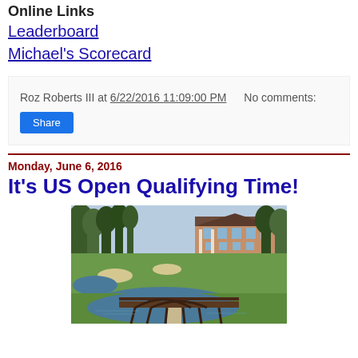Online Links
Leaderboard
Michael's Scorecard
Roz Roberts III at 6/22/2016 11:09:00 PM    No comments:
Share
Monday, June 6, 2016
It's US Open Qualifying Time!
[Figure (photo): Golf course with green fairways, sand bunkers, a pond with a wooden bridge in the foreground, and a large brick clubhouse building in the background surrounded by trees.]